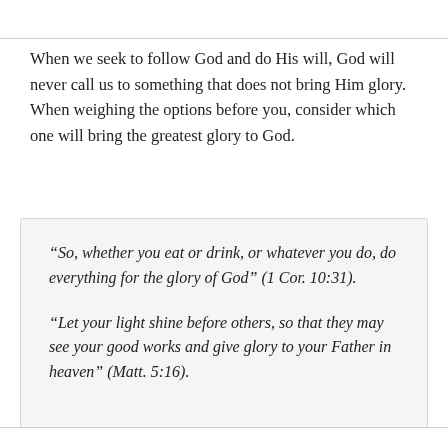When we seek to follow God and do His will, God will never call us to something that does not bring Him glory. When weighing the options before you, consider which one will bring the greatest glory to God.
“So, whether you eat or drink, or whatever you do, do everything for the glory of God” (1 Cor. 10:31).
“Let your light shine before others, so that they may see your good works and give glory to your Father in heaven” (Matt. 5:16).